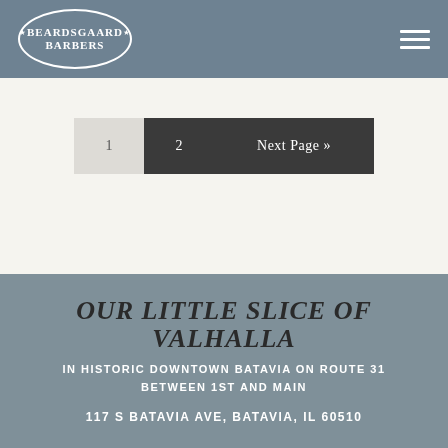[Figure (logo): Beardsgaard Barbers circular logo with decorative border, white text on grey-blue background]
Beardsgaard Barbers — navigation header with hamburger menu
1  2  Next Page »
OUR LITTLE SLICE OF VALHALLA
IN HISTORIC DOWNTOWN BATAVIA ON ROUTE 31 BETWEEN 1ST AND MAIN
117 S BATAVIA AVE, BATAVIA, IL 60510